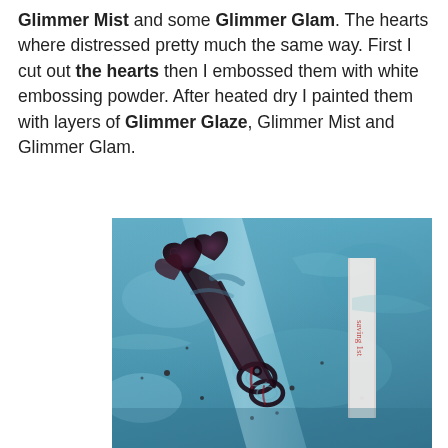Glimmer Mist and some Glimmer Glam. The hearts where distressed pretty much the same way. First I cut out the hearts then I embossed them with white embossing powder. After heated dry I painted them with layers of Glimmer Glaze, Glimmer Mist and Glimmer Glam.
[Figure (photo): Close-up photo of decorative scissors and heart-shaped embellishments on a blue textured surface with paint splatters. A white ribbon or tape with red text is visible on the right side.]